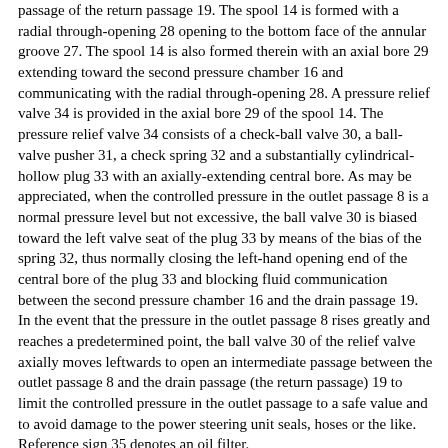passage of the return passage 19. The spool 14 is formed with a radial through-opening 28 opening to the bottom face of the annular groove 27. The spool 14 is also formed therein with an axial bore 29 extending toward the second pressure chamber 16 and communicating with the radial through-opening 28. A pressure relief valve 34 is provided in the axial bore 29 of the spool 14. The pressure relief valve 34 consists of a check-ball valve 30, a ball-valve pusher 31, a check spring 32 and a substantially cylindrical-hollow plug 33 with an axially-extending central bore. As may be appreciated, when the controlled pressure in the outlet passage 8 is a normal pressure level but not excessive, the ball valve 30 is biased toward the left valve seat of the plug 33 by means of the bias of the spring 32, thus normally closing the left-hand opening end of the central bore of the plug 33 and blocking fluid communication between the second pressure chamber 16 and the drain passage 19. In the event that the pressure in the outlet passage 8 rises greatly and reaches a predetermined point, the ball valve 30 of the relief valve axially moves leftwards to open an intermediate passage between the outlet passage 8 and the drain passage (the return passage) 19 to limit the controlled pressure in the outlet passage to a safe value and to avoid damage to the power steering unit seals, hoses or the like. Reference sign 35 denotes an oil filter.
Reference sign 37 denotes a movable spring-seat member whose right-hand flat end face 41 defines a control pressure chamber 36.